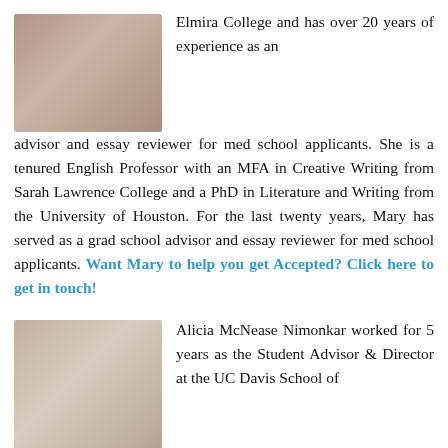[Figure (photo): Blurred/privacy-protected portrait photo of a person, square crop, warm tones]
Elmira College and has over 20 years of experience as an advisor and essay reviewer for med school applicants. She is a tenured English Professor with an MFA in Creative Writing from Sarah Lawrence College and a PhD in Literature and Writing from the University of Houston. For the last twenty years, Mary has served as a grad school advisor and essay reviewer for med school applicants. Want Mary to help you get Accepted? Click here to get in touch!
[Figure (photo): Blurred/privacy-protected portrait photo of Alicia McNease Nimonkar, square crop, neutral warm tones]
Alicia McNease Nimonkar worked for 5 years as the Student Advisor & Director at the UC Davis School of